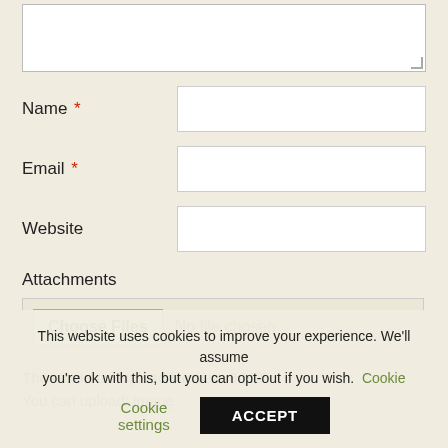[Figure (screenshot): Textarea input field (comment box), partially visible at top of page]
Name *
[Figure (screenshot): Name input text field]
Email *
[Figure (screenshot): Email input text field]
Website
[Figure (screenshot): Website input text field]
Attachments
[Figure (screenshot): File upload area with Choose Files button and No file chosen text]
The maximum upload file size: 8 MB.
You can upload: image.
This website uses cookies to improve your experience. We'll assume you're ok with this, but you can opt-out if you wish. Cookie settings ACCEPT